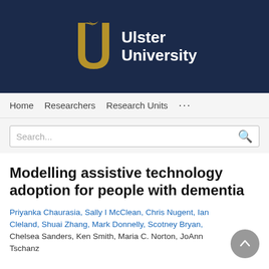[Figure (logo): Ulster University logo with golden U letter mark and white text 'Ulster University' on dark navy background]
Home  Researchers  Research Units  ...
Search...
Modelling assistive technology adoption for people with dementia
Priyanka Chaurasia, Sally I McClean, Chris Nugent, Ian Cleland, Shuai Zhang, Mark Donnelly, Scotney Bryan, Chelsea Sanders, Ken Smith, Maria C. Norton, JoAnn Tschanz